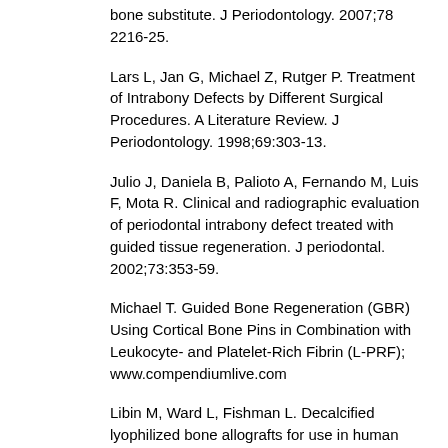bone substitute. J Periodontology. 2007;78 2216-25.
Lars L, Jan G, Michael Z, Rutger P. Treatment of Intrabony Defects by Different Surgical Procedures. A Literature Review. J Periodontology. 1998;69:303-13.
Julio J, Daniela B, Palioto A, Fernando M, Luis F, Mota R. Clinical and radiographic evaluation of periodontal intrabony defect treated with guided tissue regeneration. J periodontal. 2002;73:353-59.
Michael T. Guided Bone Regeneration (GBR) Using Cortical Bone Pins in Combination with Leukocyte- and Platelet-Rich Fibrin (L-PRF); www.compendiumlive.com
Libin M, Ward L, Fishman L. Decalcified lyophilized bone allografts for use in human periodontal defects. J Periodontal. 1975;46:51-6.
Kazuhiro O, Hideaki T, Kiyoshi T, Hironobu S,